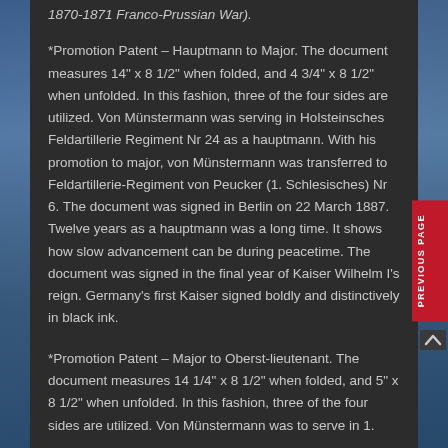1870-1871 Franco-Prussian War).
*Promotion Patent – Hauptmann to Major. The document measures 14” x 8 1/2” when folded, and 4 3/4” x 8 1/2” when unfolded. In this fashion, three of the four sides are utilized. Von Münstermann was serving in Holsteinsches Feldartillerie Regiment Nr 24 as a hauptmann. With his promotion to major, von Münstermann was transferred to Feldartillerie-Regiment von Peucker (1. Schlesisches) Nr 6. The document was signed in Berlin on 22 March 1887. Twelve years as a hauptmann was a long time. It shows how slow advancement can be during peacetime. The document was signed in the final year of Kaiser Wilhelm I’s reign. Germany’s first Kaiser signed boldly and distinctively in black ink.
*Promotion Patent – Major to Oberst-lieutenant. The document measures 14 1/4” x 8 1/2” when folded, and 5” x 8 1/2” when unfolded. In this fashion, three of the four sides are utilized. Von Münstermann was to serve in 1.